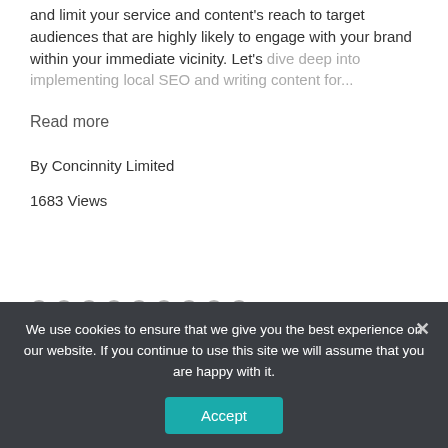and limit your service and content's reach to target audiences that are highly likely to engage with your brand within your immediate vicinity. Let's dive deep into implementing local SEO and writing content for...
Read more
By Concinnity Limited
1683 Views
We use cookies to ensure that we give you the best experience on our website. If you continue to use this site we will assume that you are happy with it.
Accept